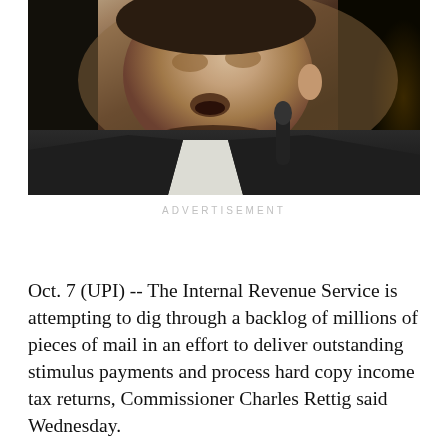[Figure (photo): Close-up photo of a man in a dark suit speaking into a microphone, likely at a congressional hearing or official proceeding. The background is dark and blurred.]
ADVERTISEMENT
Oct. 7 (UPI) -- The Internal Revenue Service is attempting to dig through a backlog of millions of pieces of mail in an effort to deliver outstanding stimulus payments and process hard copy income tax returns, Commissioner Charles Rettig said Wednesday.